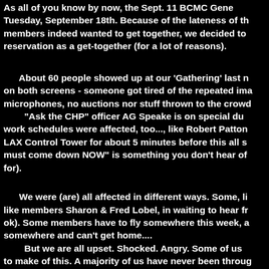As all of you know by now, the Sept. 11 BCMC General Meeting was moved to Tuesday, September 18th. Because of the lateness of the hour, and because members indeed wanted to get together, we decided to use the Veteran's reservation as a get-together (for a lot of reasons).
About 60 people showed up at our 'Gathering' last night. The TV was on on both screens - someone got tired of the repeated images... There were no microphones, no auctions nor stuff thrown to the crowd... "Ask the CHP" officer AG Speake is on special duty related to the disaster. Other work schedules were affected, too..., like Robert Patton who was working the LAX Control Tower for about 5 minutes before this all started. "All aircraft must come down NOW" is something you don't hear often (and pray you never have to for).
We were (are) all affected in different ways. Some, like members Sharon & Fred Lobel, in waiting to hear from a loved one (they are ok). Some members have to fly somewhere this week, and some are stuck somewhere and can't get home....
But we are all upset. Shocked. Angry. Some of us don't know what to make of this. A majority of us have never been through anything like this, are not old enough to answer the last big 'National Question', "Where Were You When JFK Was Shot?" But we all have a new 'question' that will last for the rest of our lives: "When the World Trade Towers Went Down?"
From all indications, the gathering last night was a positive experience...